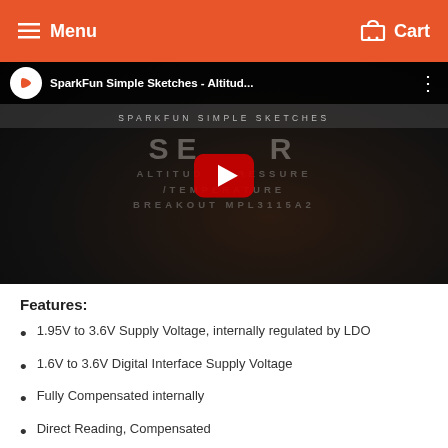Menu  Cart
[Figure (screenshot): YouTube video thumbnail for SparkFun Simple Sketches - Altitud... showing a dark video frame with text SENSOR ALTITUDE/PRESSURE/TEMPERATURE BREAKOUT MPL3115A2 and a red play button in the center]
Features:
1.95V to 3.6V Supply Voltage, internally regulated by LDO
1.6V to 3.6V Digital Interface Supply Voltage
Fully Compensated internally
Direct Reading, Compensated